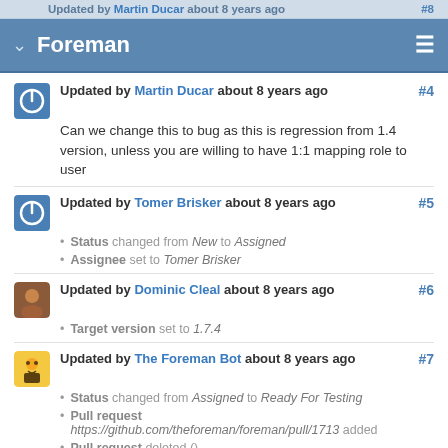Updated by Martin Ducar about 8 years ago #8
Foreman
Updated by Martin Ducar about 8 years ago #4
Can we change this to bug as this is regression from 1.4 version, unless you are willing to have 1:1 mapping role to user
Updated by Tomer Brisker about 8 years ago #5
Status changed from New to Assigned
Assignee set to Tomer Brisker
Updated by Dominic Cleal about 8 years ago #6
Target version set to 1.7.4
Updated by The Foreman Bot about 8 years ago #7
Status changed from Assigned to Ready For Testing
Pull request https://github.com/theforeman/foreman/pull/1713 added
Pull request deleted ()
Updated by Dmitri Dolguikh almost 8 years ago #8